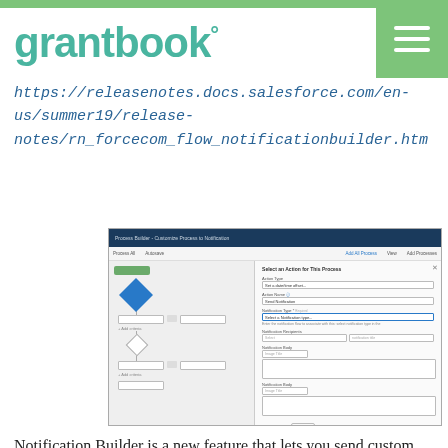grantbook°
https://releasenotes.docs.salesforce.com/en-us/summer19/release-notes/rn_forcecom_flow_notificationbuilder.htm
[Figure (screenshot): Screenshot of Salesforce Process Builder interface showing Notification Builder configuration with a flowchart on the left and form fields on the right]
Notification Builder is a new feature that lets you send custom notifications in Process Builder. If you have staff who live in Salesforce, sending an email when an event takes place might be a bit heavy-handed, and